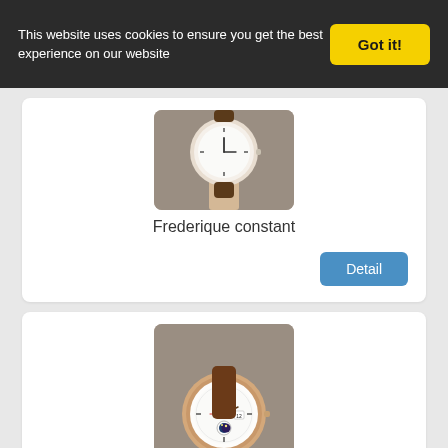This website uses cookies to ensure you get the best experience on our website
Got it!
[Figure (photo): Partial photo of a watch on a display stand, cropped at top]
Frederique constant
Detail
[Figure (photo): Photo of a Frederique Constant watch with moon phase complication on a pink/beige display stand]
Frederique constant
Detail
[Figure (photo): Partial photo of a dark/black item on a display stand, cropped at bottom of page]